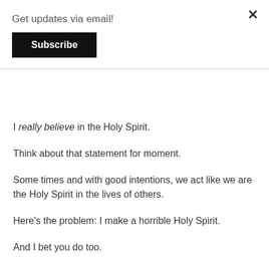Get updates via email!
Subscribe
I really believe in the Holy Spirit.
Think about that statement for moment.
Some times and with good intentions, we act like we are the Holy Spirit in the lives of others.
Here's the problem: I make a horrible Holy Spirit.
And I bet you do too.
Don't get me wrong. I'm not afraid to challenge people to step up to find and follow Jesus. I do it in casual conversations and every time I preach and train.